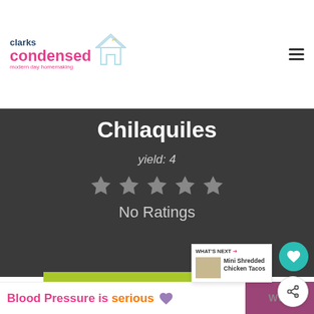clarks condensed — modern day homemaking
Chilaquiles
yield: 4
[Figure (other): 5 empty star rating icons in grey]
No Ratings
PRINT
[Figure (other): WHAT'S NEXT panel showing Mini Shredded Chicken Tacos]
Blood Pressure is serious